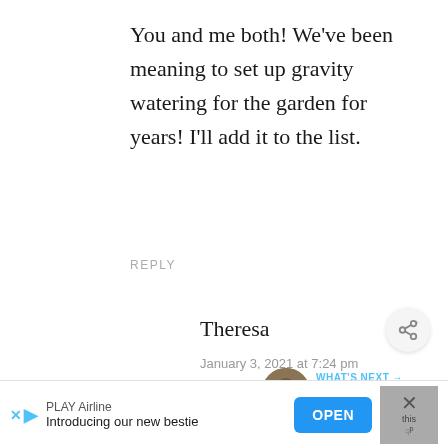You and me both! We’ve been meaning to set up gravity watering for the garden for years! I’ll add it to the list.
REPLY
Theresa
January 3, 2021 at 7:24 pm
BTW we already have the 55-
[Figure (screenshot): Ad banner: PLAY Airline - Introducing our new bestie, with OPEN button]
[Figure (screenshot): What's Next promo: Dill Pickle Recipe for...]